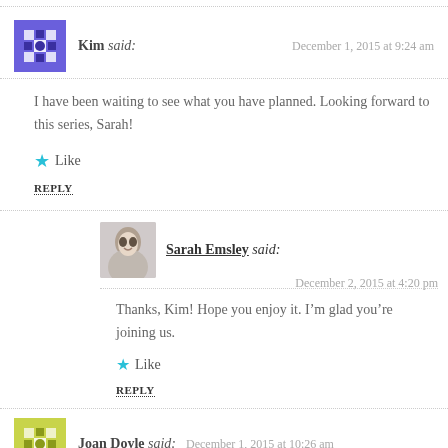Kim said: December 1, 2015 at 9:24 am
I have been waiting to see what you have planned. Looking forward to this series, Sarah!
Like
REPLY
Sarah Emsley said: December 2, 2015 at 4:20 pm
Thanks, Kim! Hope you enjoy it. I’m glad you’re joining us.
Like
REPLY
Joan Doyle said: December 1, 2015 at 10:26 am